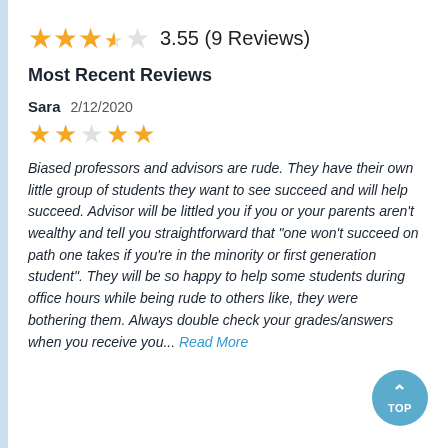[Figure (other): Star rating: 3.55 out of 5 stars (4 filled, 1 half, displayed as 4 gold stars and 1 empty star)]
3.55 (9 Reviews)
Most Recent Reviews
Sara  2/12/2020
[Figure (other): Review star rating: 2 out of 5 stars (2 filled gold stars, 3 empty stars)]
Biased professors and advisors are rude. They have their own little group of students they want to see succeed and will help succeed. Advisor will be littled you if you or your parents aren't wealthy and tell you straightforward that "one won't succeed on path one takes if you're in the minority or first generation student". They will be so happy to help some students during office hours while being rude to others like, they were bothering them. Always double check your grades/answers when you receive you... Read More